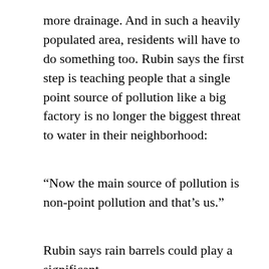more drainage. And in such a heavily populated area, residents will have to do something too. Rubin says the first step is teaching people that a single point source of pollution like a big factory is no longer the biggest threat to water in their neighborhood:
“Now the main source of pollution is non-point pollution and that’s us.”
Rubin says rain barrels could play a significant